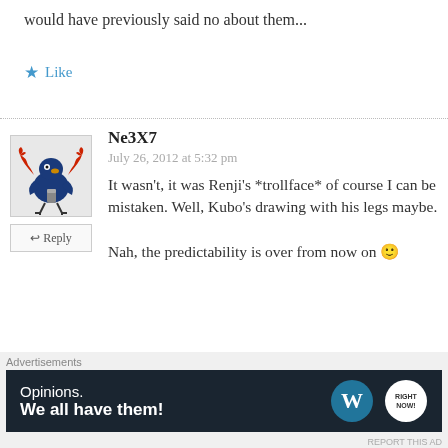would have previously said no about them...
★ Like
Ne3X7
July 26, 2012 at 5:32 pm
It wasn't, it was Renji's *trollface* of course I can be mistaken. Well, Kubo's drawing with his legs maybe.
Nah, the predictability is over from now on 🙂
★ Like
Advertisements
Opinions. We all have them!